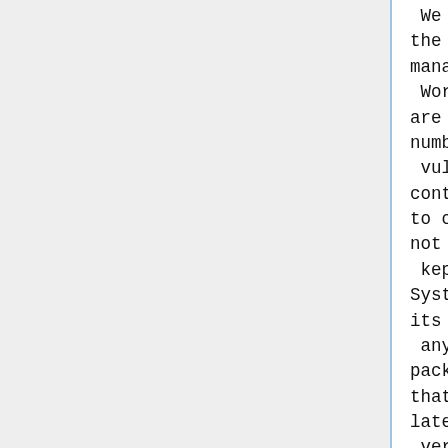We STRONGLY discourage the use of content management systems such as WordPress. These packages are notorious for the number of security vulnerabilities they contain and pose a threat to our systems if they are not kept up to date. The Systems Committee WILL, at its discretion, disable any website using a package such as WordPress that is not updated to the latest version or that is found to contain exploitable security flaws. In such a case, the member or club serving that site will be notified of the